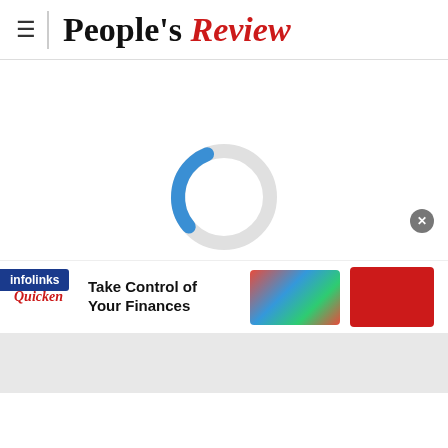People's Review
[Figure (other): Loading spinner - circular progress indicator with blue arc on light gray circle, approximately 30% filled]
Privacy & Cookies: This site uses cookies. By continuing to use this site, you agree to their use.
[Figure (other): infolinks advertisement badge in dark blue]
[Figure (other): Advertisement banner: Quicken brand logo in red, text 'Take Control of Your Finances', image of woman with financial chart graphic, red button partially visible]